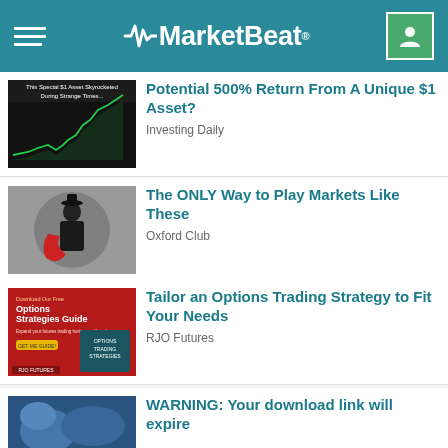MarketBeat
[Figure (screenshot): Thumbnail: stock chart with green upward trend line, text 'This Special $1 Asset Skyrocketed During Strange Times...']
Potential 500% Return From A Unique $1 Asset?
Investing Daily
[Figure (photo): Thumbnail: man in suit holding a red cape/cloth]
The ONLY Way to Play Markets Like These
Oxford Club
[Figure (screenshot): Thumbnail: red advertisement for 'Options Strategies Guide' by RJO Futures]
Tailor an Options Trading Strategy to Fit Your Needs
RJO Futures
[Figure (photo): Thumbnail: medical/surgical scene in blue lighting]
WARNING: Your download link will expire